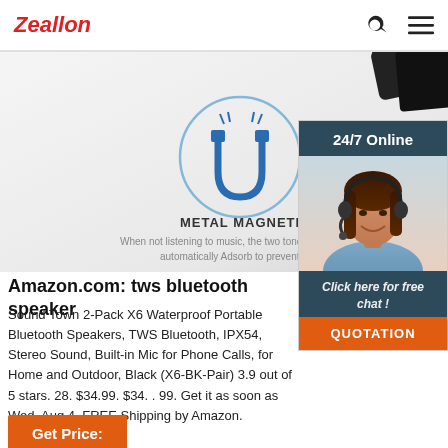Zeallon
[Figure (screenshot): Product image showing metal magnetic suction earphone feature with magnet icon and dark cable tips at top. Text: METAL MAGNETIC SUCTION. When not listening to music, the two tones can be automatically Adsorb to prevent winding and sl...]
[Figure (photo): Live chat popup: 24/7 Online header, photo of smiling woman with headset, Click here for free chat! text, QUOTATION orange button]
Amazon.com: tws bluetooth speaker
Sound Town 2-Pack X6 Waterproof Portable Bluetooth Speakers, TWS Bluetooth, IPX54, Stereo Sound, Built-in Mic for Phone Calls, for Home and Outdoor, Black (X6-BK-Pair) 3.9 out of 5 stars. 28. $34.99. $34. . 99. Get it as soon as Wed, Aug 4. FREE Shipping by Amazon.
Get Price: